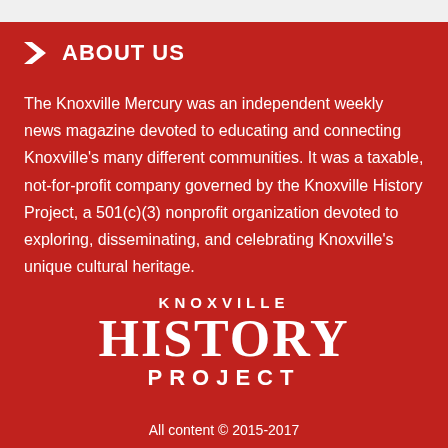> ABOUT US
The Knoxville Mercury was an independent weekly news magazine devoted to educating and connecting Knoxville's many different communities. It was a taxable, not-for-profit company governed by the Knoxville History Project, a 501(c)(3) nonprofit organization devoted to exploring, disseminating, and celebrating Knoxville's unique cultural heritage.
[Figure (logo): Knoxville History Project logo with three lines: 'KNOXVILLE' in small caps, 'HISTORY' in large serif font, and 'PROJECT' in spaced caps]
All content © 2015-2017